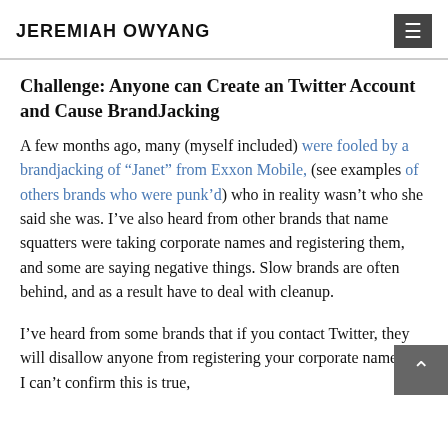JEREMIAH OWYANG
Challenge: Anyone can Create an Twitter Account and Cause BrandJacking
A few months ago, many (myself included) were fooled by a brandjacking of “Janet” from Exxon Mobile, (see examples of others brands who were punk’d) who in reality wasn’t who she said she was. I’ve also heard from other brands that name squatters were taking corporate names and registering them, and some are saying negative things. Slow brands are often behind, and as a result have to deal with cleanup.
I’ve heard from some brands that if you contact Twitter, they will disallow anyone from registering your corporate name, but I can’t confirm this is true,